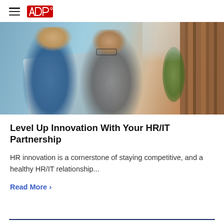ADP (logo with hamburger menu)
[Figure (photo): Two colleagues, a woman with curly blonde hair and a man with glasses, looking at a laptop together. Wood panel wall in background with a plant.]
Level Up Innovation With Your HR/IT Partnership
HR innovation is a cornerstone of staying competitive, and a healthy HR/IT relationship...
Read More >